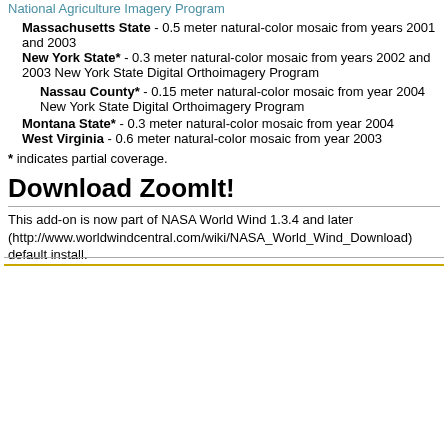Massachusetts State - 0.5 meter natural-color mosaic from years 2001 and 2003
New York State* - 0.3 meter natural-color mosaic from years 2002 and 2003 New York State Digital Orthoimagery Program
Nassau County* - 0.15 meter natural-color mosaic from year 2004 New York State Digital Orthoimagery Program
Montana State* - 0.3 meter natural-color mosaic from year 2004
West Virginia - 0.6 meter natural-color mosaic from year 2003
* indicates partial coverage.
Download ZoomIt!
This add-on is now part of NASA World Wind 1.3.4 and later (http://www.worldwindcentral.com/wiki/NASA_World_Wind_Download) default install.